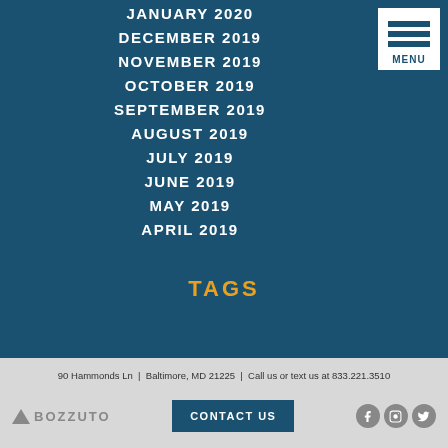JANUARY 2020
DECEMBER 2019
NOVEMBER 2019
OCTOBER 2019
SEPTEMBER 2019
AUGUST 2019
JULY 2019
JUNE 2019
MAY 2019
APRIL 2019
TAGS
90 Hammonds Ln | Baltimore, MD 21225 | Call us or text us at 833.221.3510
CONTACT US